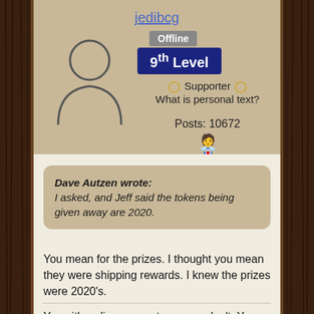jedibcg
Offline
9th Level
○ Supporter ○
What is personal text?
Posts: 10672
Dave Autzen wrote:
I asked, and Jeff said the tokens being given away are 2020.
You mean for the prizes. I thought you mean they were shipping rewards. I knew the prizes were 2020's.
You either discover a star or you don't. You